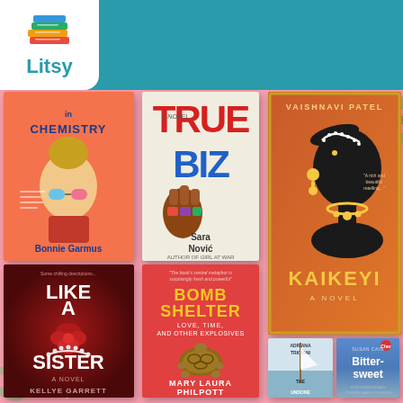[Figure (screenshot): Litsy app interface showing a navigation bar with the Litsy logo (stack of colorful books), home, search, add, lightning bolt, and profile icons on a teal background with a yellow accent bar below. The main content area shows a pink background with book covers arranged in a grid: 'Lessons in Chemistry' by Bonnie Garmus, 'True Biz' by Sara Novic, 'Kaikeyi' by Vaishnavi Patel, 'Like a Sister' by Kellye Garrett, 'Bomb Shelter: Love, Time, and Other Explosives' by Mary Laura Philpott, 'The Good Left Undone' by Adriana Trigiani, and 'Bittersweet' by Susan Cain.]